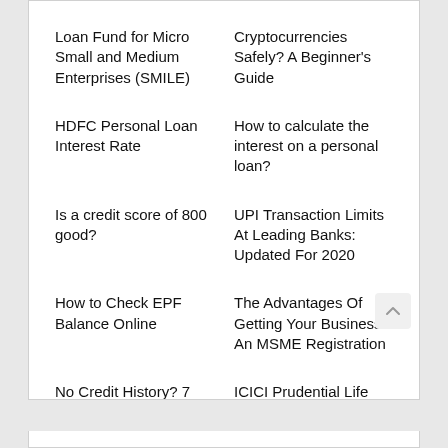Loan Fund for Micro Small and Medium Enterprises (SMILE)
Cryptocurrencies Safely? A Beginner's Guide
HDFC Personal Loan Interest Rate
How to calculate the interest on a personal loan?
Is a credit score of 800 good?
UPI Transaction Limits At Leading Banks: Updated For 2020
How to Check EPF Balance Online
The Advantages Of Getting Your Business An MSME Registration
No Credit History? 7 Smart Tips to Build Credit History from Scratch!
ICICI Prudential Life Insurance Company
How to apply for Warehouse & Storage Facility Loans
5 Warning Signs Telling You That You Are Using Your Credit Card Incorrectly